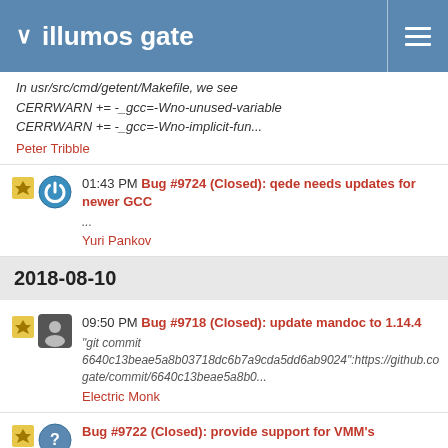illumos gate
In usr/src/cmd/getent/Makefile, we see
CERRWARN += -_gcc=-Wno-unused-variable
CERRWARN += -_gcc=-Wno-implicit-fun...
Peter Tribble
01:43 PM Bug #9724 (Closed): qede needs updates for newer GCC
...
Yuri Pankov
2018-08-10
09:50 PM Bug #9718 (Closed): update mandoc to 1.14.4
"git commit 6640c13beae5a8b03718dc6b7a9cda5dd6ab9024":https://github.co gate/commit/6640c13beae5a8b0...
Electric Monk
Bug #9722 (Closed): provide support for VMM's